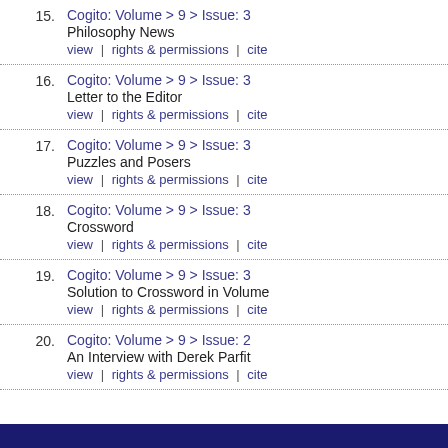15. Cogito: Volume > 9 > Issue: 3 | Philosophy News | view | rights & permissions | cite
16. Cogito: Volume > 9 > Issue: 3 | Letter to the Editor | view | rights & permissions | cite
17. Cogito: Volume > 9 > Issue: 3 | Puzzles and Posers | view | rights & permissions | cite
18. Cogito: Volume > 9 > Issue: 3 | Crossword | view | rights & permissions | cite
19. Cogito: Volume > 9 > Issue: 3 | Solution to Crossword in Volume | view | rights & permissions | cite
20. Cogito: Volume > 9 > Issue: 2 | An Interview with Derek Parfit | view | rights & permissions | cite